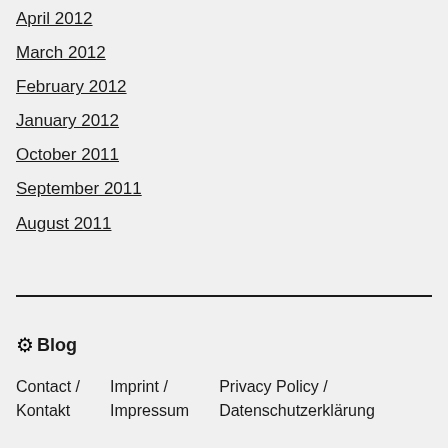April 2012
March 2012
February 2012
January 2012
October 2011
September 2011
August 2011
🌐Blog
Contact / Kontakt   Imprint / Impressum   Privacy Policy / Datenschutzerklärung